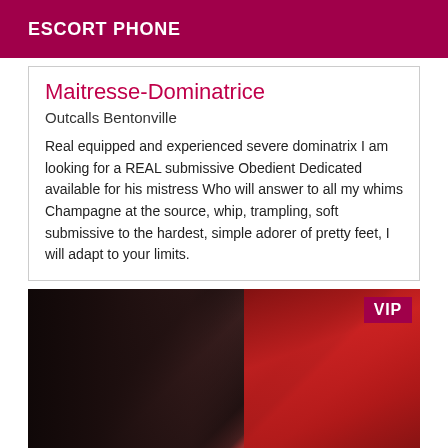ESCORT PHONE
Maitresse-Dominatrice
Outcalls Bentonville
Real equipped and experienced severe dominatrix I am looking for a REAL submissive Obedient Dedicated available for his mistress Who will answer to all my whims Champagne at the source, whip, trampling, soft submissive to the hardest, simple adorer of pretty feet, I will adapt to your limits.
[Figure (photo): Photo of a woman with dark hair wearing black clothing, with a red fabric visible in the background. A VIP badge is shown in the top-right corner.]